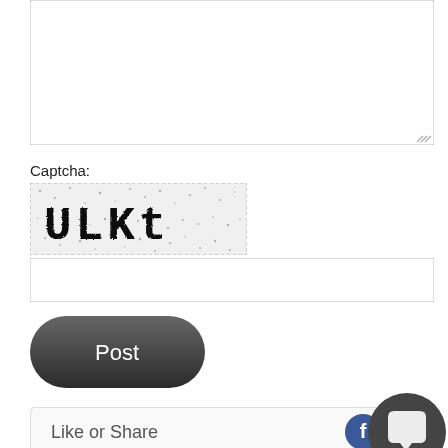[Figure (screenshot): Text area input box (comment field) with resize handle at bottom-right]
Captcha:
[Figure (illustration): CAPTCHA image showing distorted text 'ULKt' with noisy dotted background]
[Figure (screenshot): Captcha text input field]
[Figure (illustration): Post button - dark rounded pill button with white text 'Post']
Like or Share
[Figure (logo): Facebook and Twitter social sharing icons, plus chat bubble icon overlay]